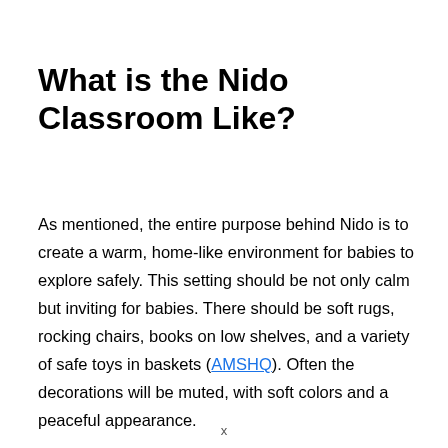What is the Nido Classroom Like?
As mentioned, the entire purpose behind Nido is to create a warm, home-like environment for babies to explore safely. This setting should be not only calm but inviting for babies. There should be soft rugs, rocking chairs, books on low shelves, and a variety of safe toys in baskets (AMSHQ). Often the decorations will be muted, with soft colors and a peaceful appearance.
x